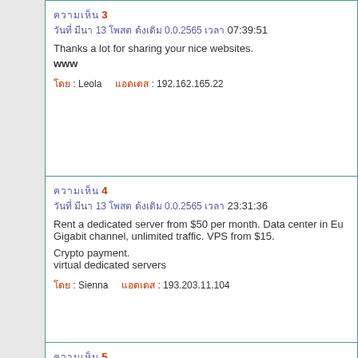Comment 3 - Thai date text - 07:39:51
Thanks a lot for sharing your nice websites.
www
Name: Leola   IP: 192.162.165.22
Comment 4 - Thai date text - 23:31:36
Rent a dedicated server from $50 per month. Data center in Europe. Gigabit channel, unlimited traffic. VPS from $15.
Crypto payment.
virtual dedicated servers
Name: Sienna   IP: 193.203.11.104
Comment 5 - Thai date text - 04:12:00
Scrambled/encoded text content with (PMS) marker and 1988 reference